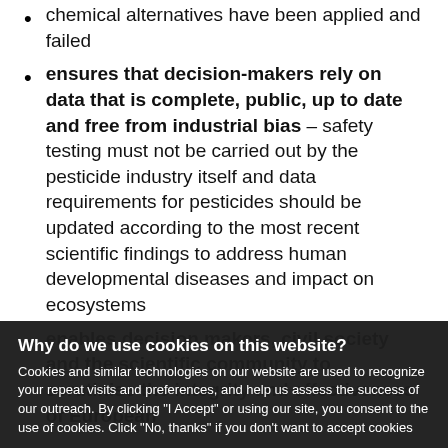chemical alternatives have been applied and failed
ensures that decision-makers rely on data that is complete, public, up to date and free from industrial bias – safety testing must not be carried out by the pesticide industry itself and data requirements for pesticides should be updated according to the most recent scientific findings to address human developmental diseases and impact on ecosystems
enables decision makers, civil society and the scientific community to scrutinise the integrity and effectiveness of European pesticide regulation by making data of all pesticide authorisations should be published on the
Why do we use cookies on this website? Cookies and similar technologies on our website are used to recognize your repeat visits and preferences, and help us assess the success of our outreach. By clicking "I Accept" or using our site, you consent to the use of cookies. Click "No, thanks" if you don't want to accept cookies